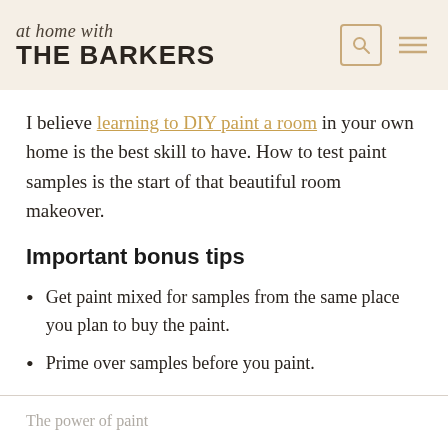at home with THE BARKERS
I believe learning to DIY paint a room in your own home is the best skill to have. How to test paint samples is the start of that beautiful room makeover.
Important bonus tips
Get paint mixed for samples from the same place you plan to buy the paint.
Prime over samples before you paint.
The power of paint